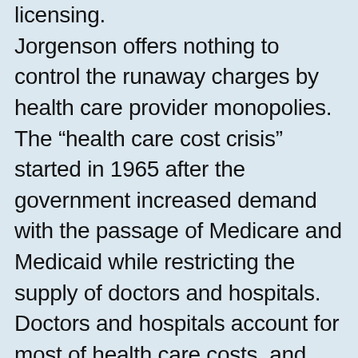licensing. Jorgenson offers nothing to control the runaway charges by health care provider monopolies. The “health care cost crisis” started in 1965 after the government increased demand with the passage of Medicare and Medicaid while restricting the supply of doctors and hospitals. Doctors and hospitals account for most of health care costs, and their prices have inflated the fastest. Moreover, limiting the supply of physicians and other practitioners that work for hospitals and other institutions can limit the volume of patient care